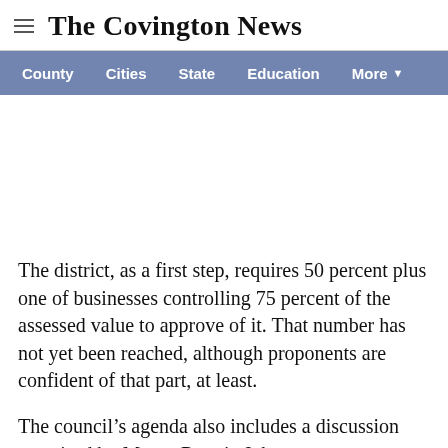The Covington News
County  Cities  State  Education  More
The district, as a first step, requires 50 percent plus one of businesses controlling 75 percent of the assessed value to approve of it. That number has not yet been reached, although proponents are confident of that part, at least.
The council’s agenda also includes a discussion promised by Mayor Ronnie Johnston to cut funding